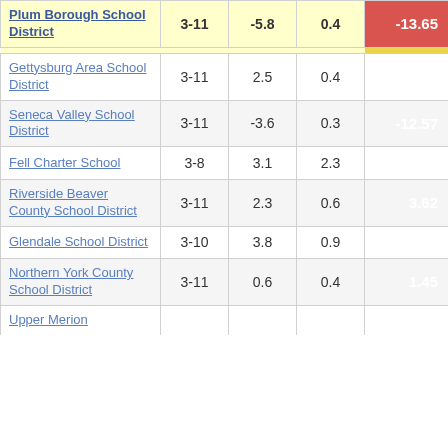| School District | Grades | Col3 | Col4 | Score |
| --- | --- | --- | --- | --- |
| Plum Borough School District | 3-11 | -5.8 | 0.4 | -13.65 |
| Gettysburg Area School District | 3-11 | 2.5 | 0.4 | 5.70 |
| Seneca Valley School District | 3-11 | -3.6 | 0.3 | -12.57 |
| Fell Charter School | 3-8 | 3.1 | 2.3 | 1.32 |
| Riverside Beaver County School District | 3-11 | 2.3 | 0.6 | 3.62 |
| Glendale School District | 3-10 | 3.8 | 0.9 | 4.33 |
| Northern York County School District | 3-11 | 0.6 | 0.4 | 1.45 |
| Upper Merion |  |  |  |  |